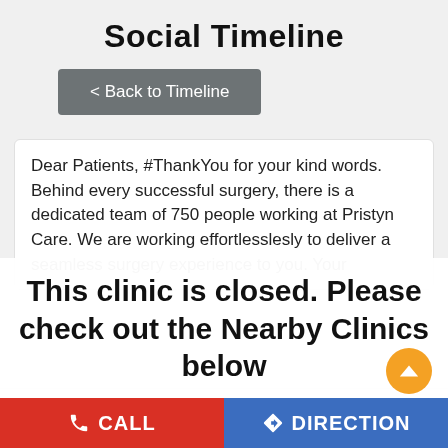Social Timeline
< Back to Timeline
Dear Patients, #ThankYou for your kind words. Behind every successful surgery, there is a dedicated team of 750 people working at Pristyn Care. We are working effortlesslesly to deliver a seamless surgery experience to you. Your
This clinic is closed. Please check out the Nearby Clinics below
#medical #ProudMoment #eardrum #hearingaids #hearingloss #hearingimpaired #hearinglossawareness
#ThankYou
CALL
DIRECTION